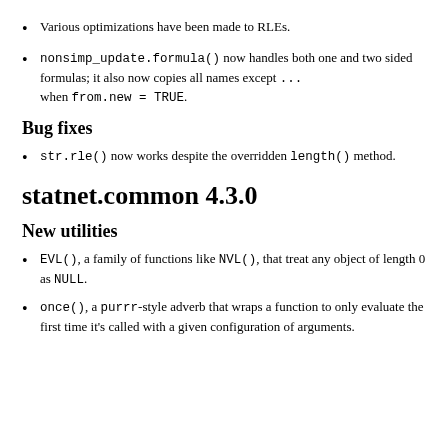Various optimizations have been made to RLEs.
nonsimp_update.formula() now handles both one and two sided formulas; it also now copies all names except ... when from.new = TRUE.
Bug fixes
str.rle() now works despite the overridden length() method.
statnet.common 4.3.0
New utilities
EVL(), a family of functions like NVL(), that treat any object of length 0 as NULL.
once(), a purrr-style adverb that wraps a function to only evaluate the first time it's called with a given configuration of arguments.